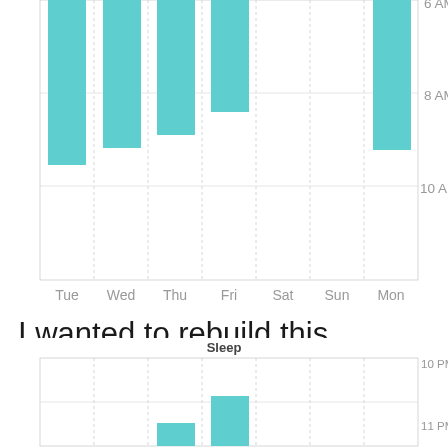[Figure (bar-chart): Partial sleep chart showing bars for Tue, Wed, Thu, Fri, Mon visible. Y-axis labels: 6 AM, 8 AM, 10 AM. X-axis: Tue, Wed, Thu, Fri, Sat, Sun, Mon.]
I wanted to rebuild this visualization in Vega-Lite. There were a lot of little snags I encountered doing so, so I decided to write them down so I don't forget them. But first, let's see my reproduction!
[Figure (bar-chart): Partial sleep chart at bottom. Title: Sleep. Y-axis labels: 10 PM, 11 PM. Bottom portion cut off.]